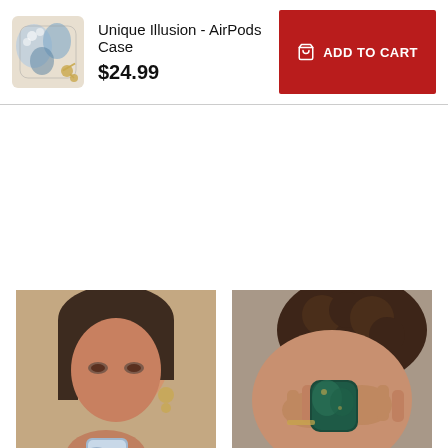[Figure (photo): AirPods case product thumbnail - decorative patterned design with blue floral and gold accents]
Unique Illusion - AirPods Case
$24.99
ADD TO CART
[Figure (photo): Woman holding an AirPods case near her face, lifestyle product photo]
[Figure (photo): Person holding a dark colored AirPods case up near their head, lifestyle product photo]